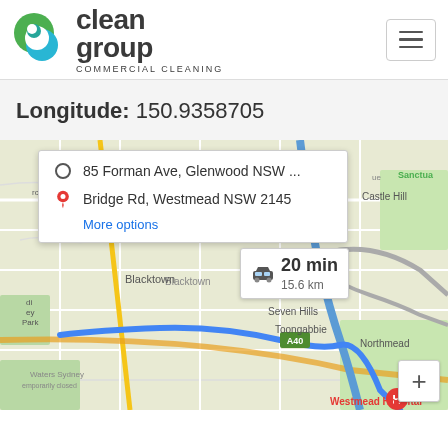[Figure (logo): Clean Group Commercial Cleaning logo with circular green/teal/blue icon]
Longitude: 150.9358705
[Figure (map): Google Maps screenshot showing route from 85 Forman Ave, Glenwood NSW to Bridge Rd, Westmead NSW 2145. Directions popup shows 20 min / 15.6 km. Map shows Blacktown, Seven Hills, Toongabbie, Northmead, Castle Hill, Westmead Hospital areas.]